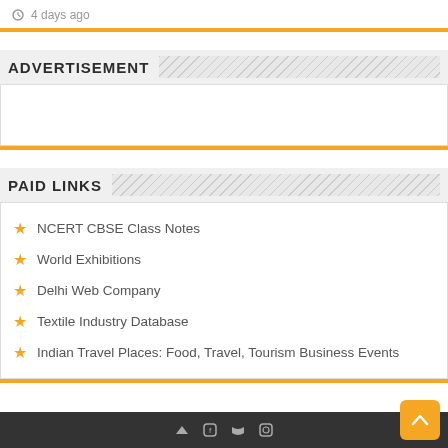4 days ago
ADVERTISEMENT
PAID LINKS
NCERT CBSE Class Notes
World Exhibitions
Delhi Web Company
Textile Industry Database
Indian Travel Places: Food, Travel, Tourism Business Events